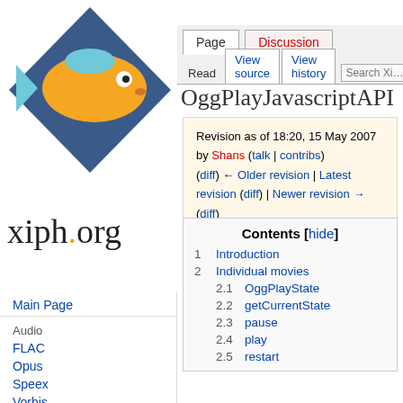Log in
[Figure (logo): xiph.org logo: orange fish on blue diamond with text xiph.org]
Main Page
Audio
FLAC
Opus
Speex
Vorbis
Video
Daala
Dirac
Theora
Text
OggPlayJavascriptAPI
Revision as of 18:20, 15 May 2007 by Shans (talk | contribs)
(diff) ← Older revision | Latest revision (diff) | Newer revision → (diff)
| # | Contents |
| --- | --- |
| 1 | Introduction |
| 2 | Individual movies |
| 2.1 | OggPlayState |
| 2.2 | getCurrentState |
| 2.3 | pause |
| 2.4 | play |
| 2.5 | restart |